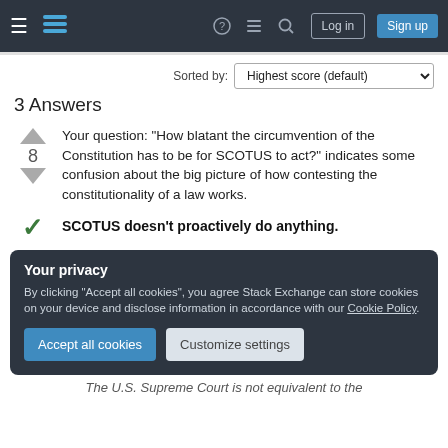Stack Exchange navigation header with logo, menu icons, Log in and Sign up buttons
Sorted by:
3 Answers
Highest score (default)
Your question: "How blatant the circumvention of the Constitution has to be for SCOTUS to act?" indicates some confusion about the big picture of how contesting the constitutionality of a law works.
SCOTUS doesn't proactively do anything.
Your privacy
By clicking "Accept all cookies", you agree Stack Exchange can store cookies on your device and disclose information in accordance with our Cookie Policy.
Accept all cookies
Customize settings
The U.S. Supreme Court is not equivalent to the